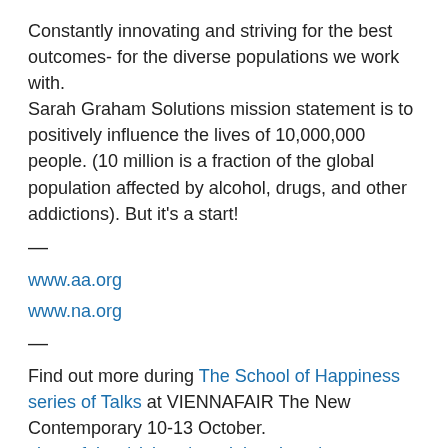Constantly innovating and striving for the best outcomes- for the diverse populations we work with. Sarah Graham Solutions mission statement is to positively influence the lives of 10,000,000 people. (10 million is a fraction of the global population affected by alcohol, drugs, and other addictions). But it's a start!
—
www.aa.org
www.na.org
—
Find out more during The School of Happiness series of Talks at VIENNAFAIR The New Contemporary 10-13 October. viennafair.at/visitors/special-projects/